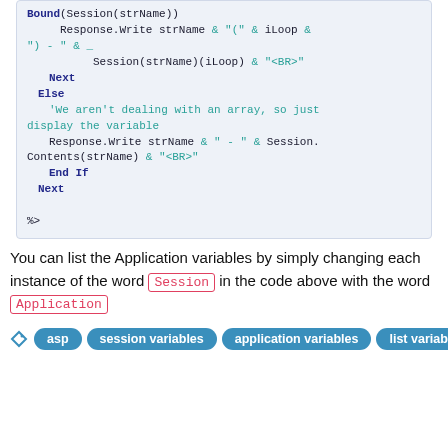Bound(Session(strName))
            Response.Write strName & "(" & iLoop &
") - " & _
                    Session(strName)(iLoop) & "<BR>"
        Next
    Else
        'We aren't dealing with an array, so just display the variable
        Response.Write strName & " - " & Session.Contents(strName) & "<BR>"
        End If
    Next

%>
You can list the Application variables by simply changing each instance of the word Session in the code above with the word Application
asp   session variables   application variables   list variables